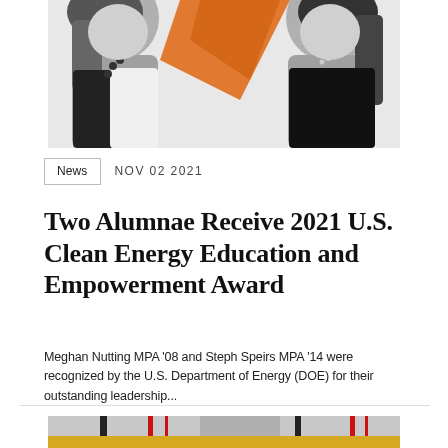[Figure (photo): Two women in professional attire photographed in black and white against an orange background accent]
News  NOV 02 2021
Two Alumnae Receive 2021 U.S. Clean Energy Education and Empowerment Award
Meghan Nutting MPA '08 and Steph Speirs MPA '14 were recognized by the U.S. Department of Energy (DOE) for their outstanding leadership...
[Figure (photo): Partial image of an architectural or urban scene with red, black, and gray vertical elements over a yellow/gold surface]